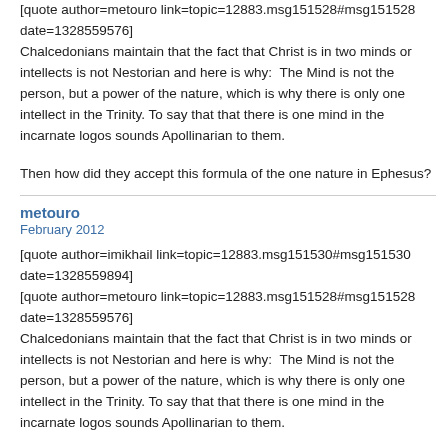[quote author=metouro link=topic=12883.msg151528#msg151528 date=1328559576]
Chalcedonians maintain that the fact that Christ is in two minds or intellects is not Nestorian and here is why:  The Mind is not the person, but a power of the nature, which is why there is only one intellect in the Trinity. To say that that there is one mind in the incarnate logos sounds Apollinarian to them.
Then how did they accept this formula of the one nature in Ephesus?
metouro
February 2012
[quote author=imikhail link=topic=12883.msg151530#msg151530 date=1328559894]
[quote author=metouro link=topic=12883.msg151528#msg151528 date=1328559576]
Chalcedonians maintain that the fact that Christ is in two minds or intellects is not Nestorian and here is why:  The Mind is not the person, but a power of the nature, which is why there is only one intellect in the Trinity. To say that that there is one mind in the incarnate logos sounds Apollinarian to them.
Then how did they accept this formula of the one nature in Ephesus?